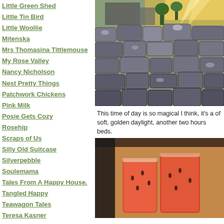Little Green Shed
Little Tin Bird
Little Woollie
Mitenska
Mrs Thomasina Tittlemouse
My Rose Valley
Nancy Nicholson
Nest Pretty Things
Patchwork Chickens
Pink Milk
Posie Gets Cozy
Rosehip
Scraps of Us
Silly Old Suitcase
Silverpebble
Soulemama
Tales From A Happy House.
Tangled Happy
Teawagon Tales
Teresa Kasner
Vintage Sheet Addict
Winwick Mum
Wood wool stool
Yvestown
Patterns and Tutorials
[Figure (photo): Dry stone wall photographed in golden evening light with sun rays visible above]
This time of day is so magical I think, it's a of soft, golden daylight, another two hours beds.
[Figure (photo): Close-up of red/orange watermelon slices on a surface]